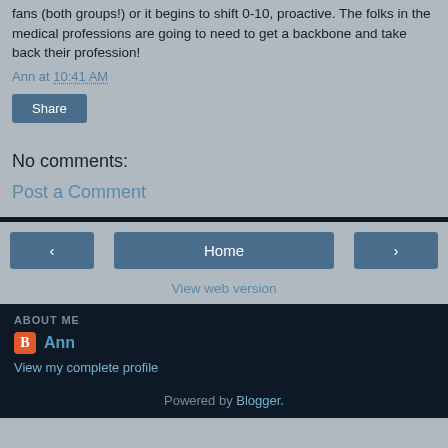fans (both groups!) or it begins to shift 0-10, proactive. The folks in the medical professions are going to need to get a backbone and take back their profession!
Ann at 10:41 AM
Share
No comments:
Post a Comment
Home
View web version
ABOUT ME
Ann
View my complete profile
Powered by Blogger.